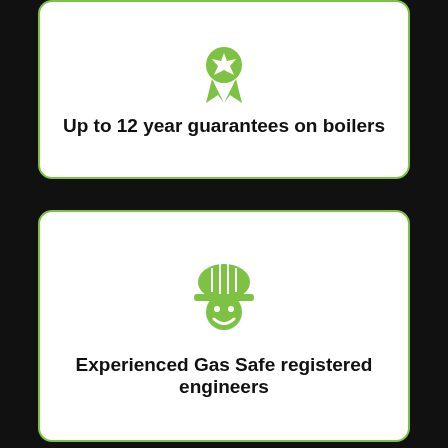[Figure (infographic): Green award/medal icon with ribbon]
Up to 12 year guarantees on boilers
[Figure (infographic): Green engineer/worker icon with helmet and face]
Experienced Gas Safe registered engineers